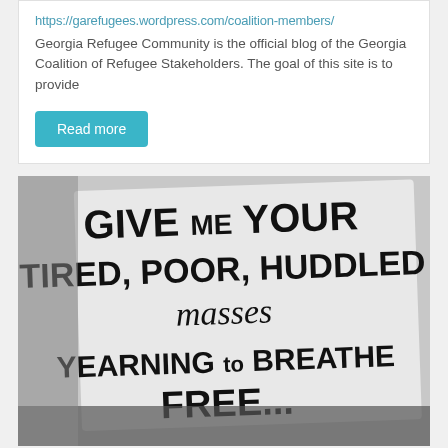https://garefugees.wordpress.com/coalition-members/
Georgia Refugee Community is the official blog of the Georgia Coalition of Refugee Stakeholders. The goal of this site is to provide
Read more
[Figure (photo): Black and white photo of a protest sign reading: GIVE ME YOUR TIRED, POOR, HUDDLED masses YEARNING to BREATHE FREE...]
Immigrant Rights